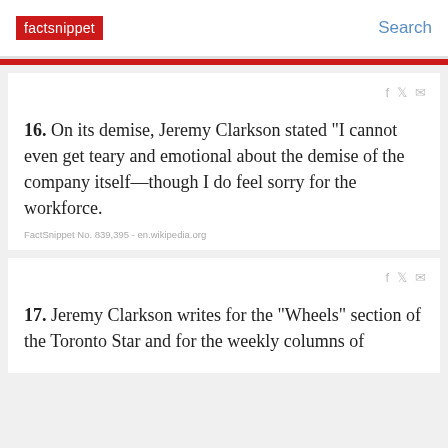factsnippet | Search
16. On its demise, Jeremy Clarkson stated "I cannot even get teary and emotional about the demise of the company itself—though I do feel sorry for the workforce.
FactSnippet No. 839,395 - en.wikipedia.org
17. Jeremy Clarkson writes for the "Wheels" section of the Toronto Star and for the weekly columns of